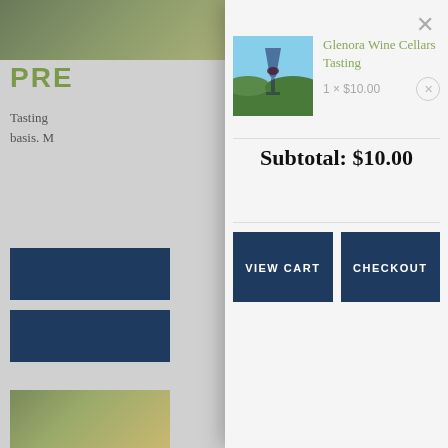[Figure (screenshot): Background website page partially visible, showing green heading 'PRE', body text starting with 'Tasting' and 'basis. M', two dark blue button elements, and a landscape photo at bottom]
[Figure (screenshot): Shopping cart modal popup overlay on white/light grey background containing product thumbnail, product name 'Glenora Wine Cellars Tasting', price '1 × $10.00', subtotal '$10.00', and two buttons 'VIEW CART' and 'CHECKOUT']
×
Glenora Wine Cellars Tasting
1 × $10.00
Subtotal: $10.00
VIEW CART
CHECKOUT